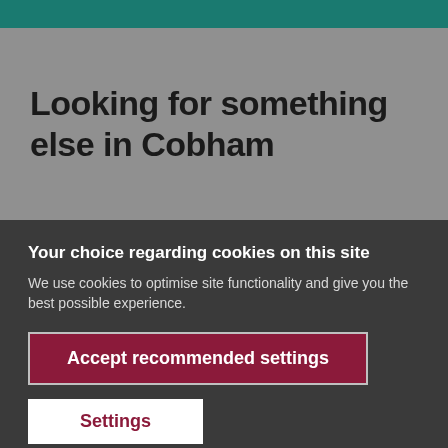Looking for something else in Cobham
Your choice regarding cookies on this site
We use cookies to optimise site functionality and give you the best possible experience.
Accept recommended settings
Settings